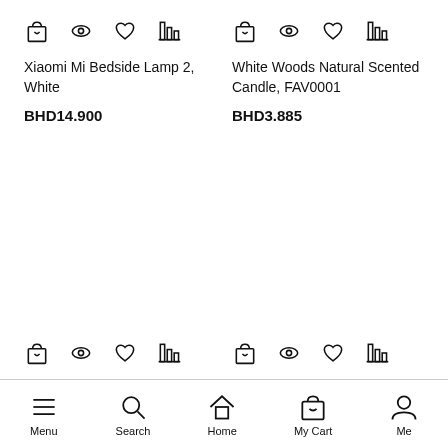[Figure (screenshot): Product listing with two items showing shopping icons]
Xiaomi Mi Bedside Lamp 2, White
BHD14.900
White Woods Natural Scented Candle, FAV0001
BHD3.885
Menu | Search | Home | My Cart | Me